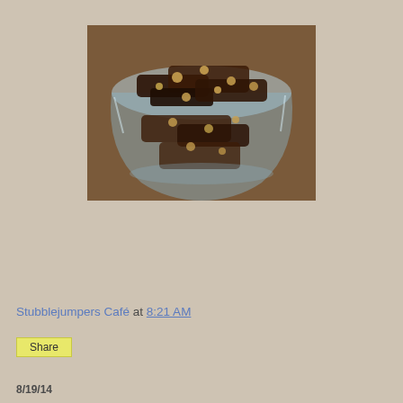[Figure (photo): A glass bowl filled with chocolate bark or brownies containing hazelnuts, placed on a surface. The food appears dark chocolate with visible whole and chopped hazelnuts throughout. A glass bowl with ridged sides holds the chocolate pieces.]
Stubblejumpers Café at 8:21 AM
Share
8/19/14